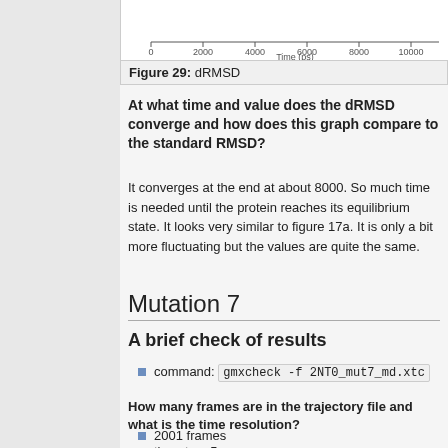[Figure (continuous-plot): Partial view of dRMSD time series chart showing x-axis labeled 'Time (ps)' with ticks at 0, 2000, 4000, 6000, 8000, 10000]
Figure 29: dRMSD
At what time and value does the dRMSD converge and how does this graph compare to the standard RMSD?
It converges at the end at about 8000. So much time is needed until the protein reaches its equilibrium state. It looks very similar to figure 17a. It is only a bit more fluctuating but the values are quite the same.
Mutation 7
A brief check of results
command: gmxcheck -f 2NT0_mut7_md.xtc
How many frames are in the trajectory file and what is the time resolution?
2001 frames
timestep: 5ps